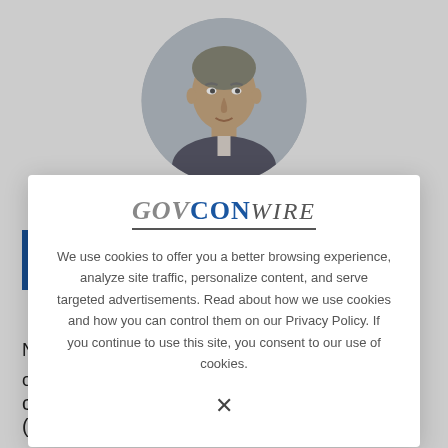[Figure (photo): Circular profile photo of a middle-aged man with grey-brown hair, wearing a suit, against a light background]
P
G
G
N
o
consequence to the government contracting (GovCon)…
[Figure (screenshot): GovConWire cookie consent modal overlay with logo, cookie policy text, and X close button]
GOVCONWIRE
We use cookies to offer you a better browsing experience, analyze site traffic, personalize content, and serve targeted advertisements. Read about how we use cookies and how you can control them on our Privacy Policy. If you continue to use this site, you consent to our use of cookies.
X